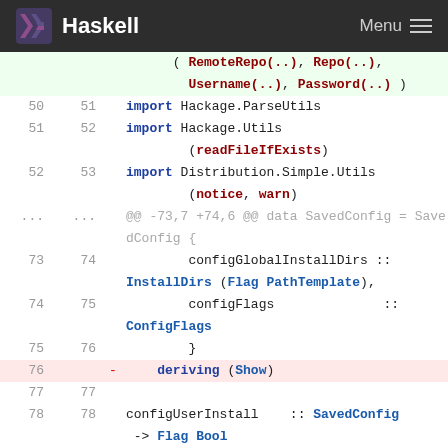Haskell  Menu
[Figure (screenshot): Haskell code diff view showing changes to Haskell source file. Lines 50-79 visible with diff markers. Removed line 76: 'deriving (Show)'. Code includes imports for Hackage.ParseUtils, Hackage.Utils, Distribution.Simple.Utils, and data record fields configGlobalInstallDirs and configFlags, plus configUserInstall function.]